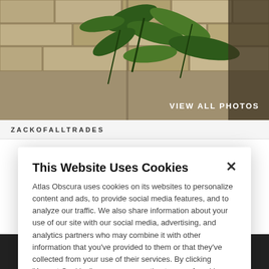[Figure (photo): Outdoor photo showing tropical green plants/leaves against a stone wall background. Text overlay reads 'VIEW ALL PHOTOS' in white bold letters bottom right.]
ZACKOFALLTRADES
This Website Uses Cookies
Atlas Obscura uses cookies on its websites to personalize content and ads, to provide social media features, and to analyze our traffic. We also share information about your use of our site with our social media, advertising, and analytics partners who may combine it with other information that you've provided to them or that they've collected from your use of their services. By clicking "Accept Cookies", you are consenting to use of cookies as described in our Cookie Policy. View Cookie Policy
Manage Preferences
Allow Cookies
[Figure (screenshot): Bottom advertisement strip showing a circular icon with an airplane symbol and text 'City escapes Now at 10% off' in white on dark background.]